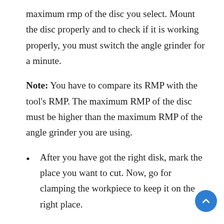maximum rmp of the disc you select. Mount the disc properly and to check if it is working properly, you must switch the angle grinder for a minute.
Note: You have to compare its RMP with the tool's RMP. The maximum RMP of the disc must be higher than the maximum RMP of the angle grinder you are using.
After you have got the right disk, mark the place you want to cut. Now, go for clamping the workpiece to keep it on the right place.
Once it is clamped, check the angle of the blade. Start cutting at the surface of the tubing. Never s…e for too much pressure. Let the grinder work on its